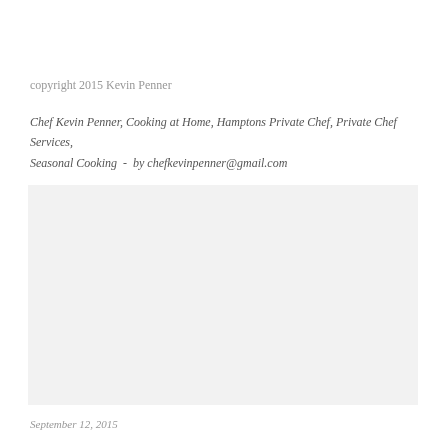copyright 2015 Kevin Penner
Chef Kevin Penner, Cooking at Home, Hamptons Private Chef, Private Chef Services, Seasonal Cooking  -  by chefkevinpenner@gmail.com
[Figure (photo): Light gray placeholder image block]
September 12, 2015